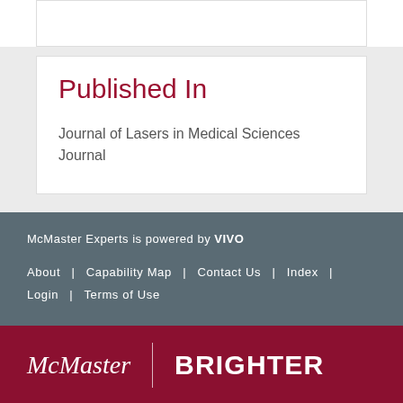Published In
Journal of Lasers in Medical Sciences Journal
McMaster Experts is powered by VIVO
About | Capability Map | Contact Us | Index |
Login | Terms of Use
[Figure (logo): McMaster | BRIGHTER logo footer bar in maroon]